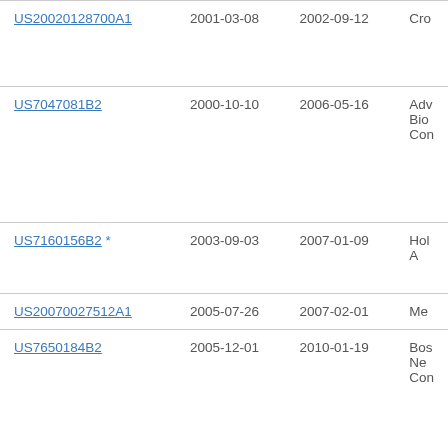| Patent Number | Filing Date | Publication Date | Assignee |
| --- | --- | --- | --- |
| US20020128700A1 | 2001-03-08 | 2002-09-12 | Cro… |
| US7047081B2 | 2000-10-10 | 2006-05-16 | Adv… Bio… Con… |
| US7160156B2 * | 2003-09-03 | 2007-01-09 | Hol… A… |
| US20070027512A1 | 2005-07-26 | 2007-02-01 | Me… |
| US7650184B2 | 2005-12-01 | 2010-01-19 | Bos… Ne… Con… |